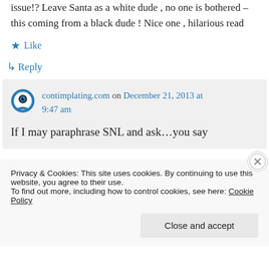issue!? Leave Santa as a white dude , no one is bothered – this coming from a black dude ! Nice one , hilarious read
Like
Reply
contimplating.com on December 21, 2013 at 9:47 am
If I may paraphrase SNL and ask…you say
Privacy & Cookies: This site uses cookies. By continuing to use this website, you agree to their use. To find out more, including how to control cookies, see here: Cookie Policy
Close and accept